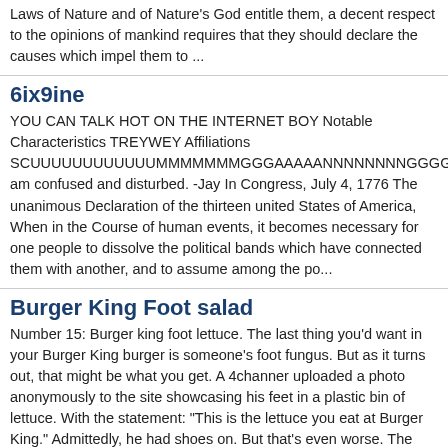Laws of Nature and of Nature's God entitle them, a decent respect to the opinions of mankind requires that they should declare the causes which impel them to ...
6ix9ine
YOU CAN TALK HOT ON THE INTERNET BOY Notable Characteristics TREYWEY Affiliations SCUUUUUUUUUUUUMMMMMMMGGGAAAAANNNNNNNNGGGGGG        I am confused and disturbed. -Jay In Congress, July 4, 1776 The unanimous Declaration of the thirteen united States of America, When in the Course of human events, it becomes necessary for one people to dissolve the political bands which have connected them with another, and to assume among the po...
Burger King Foot salad
Number 15: Burger king foot lettuce. The last thing you'd want in your Burger King burger is someone's foot fungus. But as it turns out, that might be what you get. A 4channer uploaded a photo anonymously to the site showcasing his feet in a plastic bin of lettuce. With the statement: "This is the lettuce you eat at Burger King." Admittedly, he had shoes on. But that's even worse. The post went live at 11:38 PM on July 16, and a mere 20 minutes later, the Burger Ki...
Mauserfan1910
In Congress, July 4, 1776 The unanimous Declaration of the thirteen